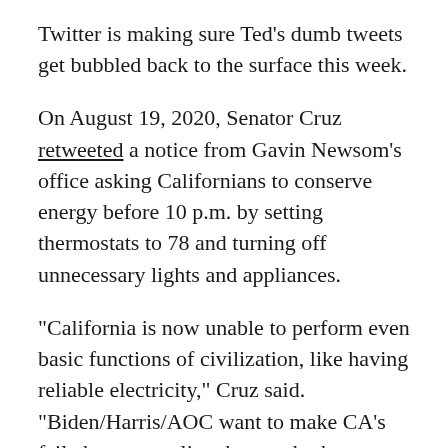Twitter is making sure Ted's dumb tweets get bubbled back to the surface this week.
On August 19, 2020, Senator Cruz retweeted a notice from Gavin Newsom's office asking Californians to conserve energy before 10 p.m. by setting thermostats to 78 and turning off unnecessary lights and appliances.
"California is now unable to perform even basic functions of civilization, like having reliable electricity," Cruz said. "Biden/Harris/AOC want to make CA’s failed energy policy the standard nationwide. Hope you don’t like air conditioning!"